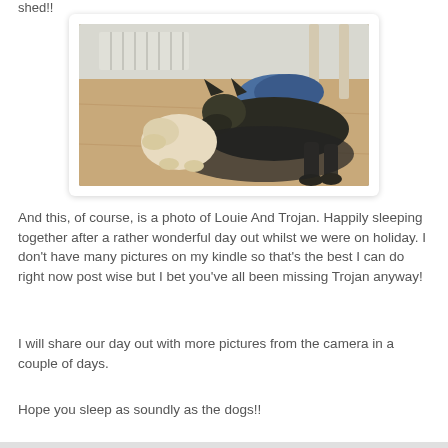shed!!
[Figure (photo): Photo of two dogs — a light-colored puppy and a large dark German Shepherd — lying together on a dog bed on a wooden floor indoors, with a radiator and chair visible in the background.]
And this, of course, is a photo of Louie And Trojan. Happily sleeping together after a rather wonderful day out whilst we were on holiday. I don't have many pictures on my kindle so that's the best I can do right now post wise but I bet you've all been missing Trojan anyway!
I will share our day out with more pictures from the camera in a couple of days.
Hope you sleep as soundly as the dogs!!